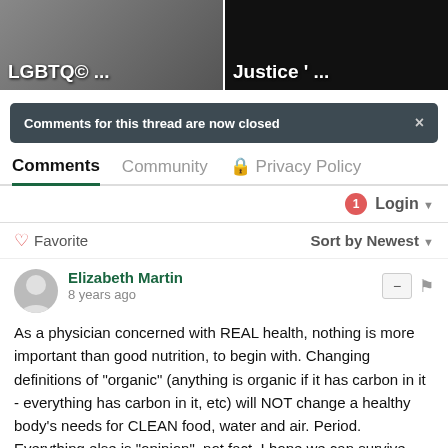[Figure (screenshot): Two image panels side by side with white text overlays. Left panel shows 'LGBTQ© ...' and right panel shows 'Justice ' ...' on dark backgrounds.]
Comments for this thread are now closed
Comments  Community  Privacy Policy
Login
Favorite  Sort by Newest
Elizabeth Martin
8 years ago
As a physician concerned with REAL health, nothing is more important than good nutrition, to begin with. Changing definitions of "organic" (anything is organic if it has carbon in it - everything has carbon in it, etc) will NOT change a healthy body's needs for CLEAN food, water and air. Period. Everything else is "opinion", not fact. I hope we can survive, particularly as the "geoengineering"/chemtrail program is